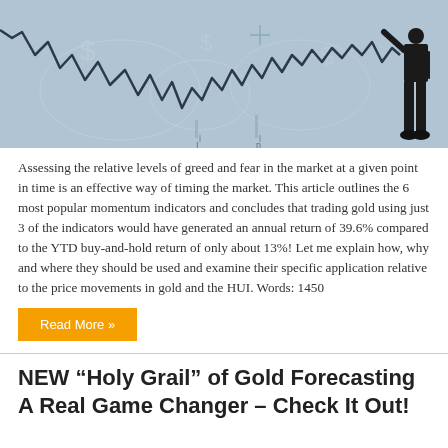[Figure (illustration): A financial market chart showing a volatile line chart with ups and downs on a blue-grey background, with a silhouette of a businessman in a suit standing to the right pointing upward.]
Assessing the relative levels of greed and fear in the market at a given point in time is an effective way of timing the market. This article outlines the 6 most popular momentum indicators and concludes that trading gold using just 3 of the indicators would have generated an annual return of 39.6% compared to the YTD buy-and-hold return of only about 13%! Let me explain how, why and where they should be used and examine their specific application relative to the price movements in gold and the HUI. Words: 1450
Read More »
NEW “Holy Grail” of Gold Forecasting A Real Game Changer – Check It Out!